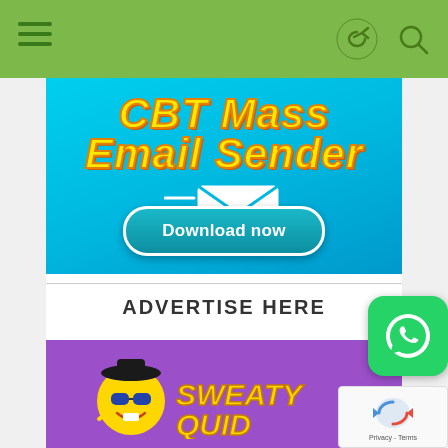[Figure (screenshot): Green navigation bar with hamburger menu icon on left and share/search icons on right]
[Figure (illustration): CBT Mass Email Sender advertisement banner with cyan/blue gradient background, yellow bold italic text reading 'CBT Mass Email Sender', email icon with speed lines, and a teal 'Download now' button]
ADVERTISE HERE
[Figure (logo): SweatyQuid logo on purple background - cartoon character with sunglasses and yellow text 'SWEATYQUID']
[Figure (illustration): WhatsApp floating contact button - green rounded square with white WhatsApp phone icon]
[Figure (illustration): Google reCAPTCHA badge with rotating arrows logo and Privacy/Terms links]